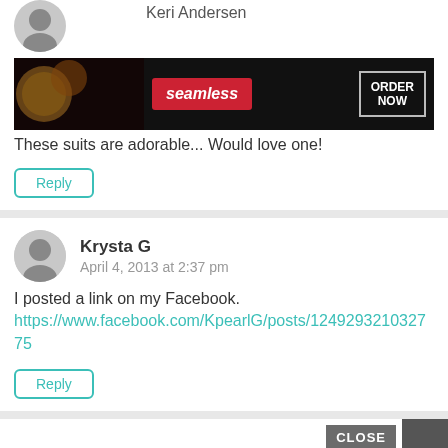Keri Andersen
[Figure (screenshot): Seamless pizza ordering advertisement banner with pizza image, seamless logo in red, and ORDER NOW button]
These suits are adorable... Would love one!
Reply
Krysta G
April 4, 2013 at 2:37 pm
I posted a link on my Facebook.
https://www.facebook.com/KpearlG/posts/124929321032775
Reply
CLOSE
[Figure (screenshot): Seamless pizza ordering advertisement banner with pizza image, seamless logo in red, and ORDER NOW button]